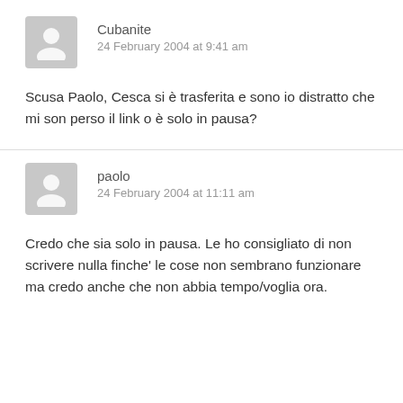Cubanite
24 February 2004 at 9:41 am
Scusa Paolo, Cesca si è trasferita e sono io distratto che mi son perso il link o è solo in pausa?
paolo
24 February 2004 at 11:11 am
Credo che sia solo in pausa. Le ho consigliato di non scrivere nulla finche' le cose non sembrano funzionare ma credo anche che non abbia tempo/voglia ora.